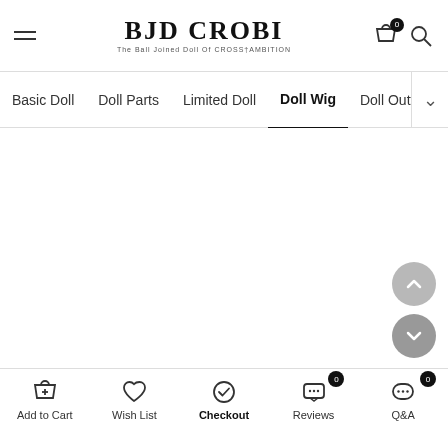BJD CROBI — The Ball Jointed Doll Of CROSS†AMBITION
Basic Doll | Doll Parts | Limited Doll | Doll Wig (active) | Doll Outfit | Do...
[Figure (screenshot): Empty white content area (product page content not loaded)]
Add to Cart | Wish List | Checkout | Reviews (0) | Q&A (0)